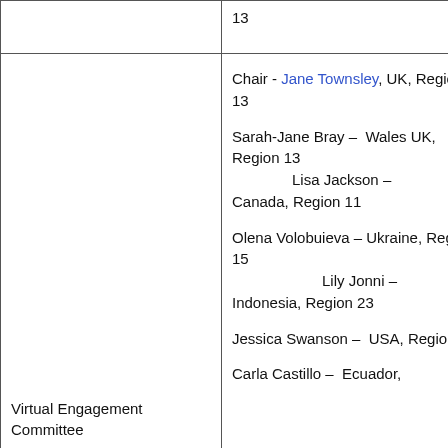|  | 13 |
| Virtual Engagement Committee | Chair - Jane Townsley, UK, Region 13

Sarah-Jane Bray – Wales UK, Region 13
        Lisa Jackson – Canada, Region 11

Olena Volobuieva – Ukraine, Region 15
                Lily Jonni – Indonesia, Region 23

Jessica Swanson – USA, Region 7

Carla Castillo – Ecuador, |